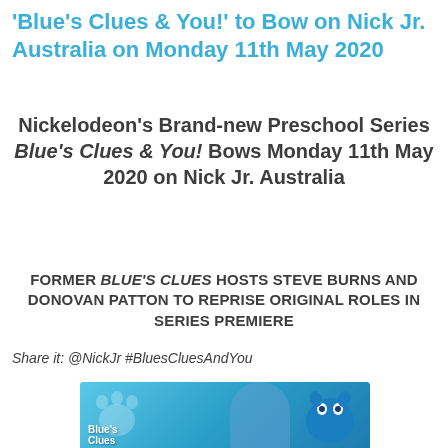'Blue's Clues & You!' to Bow on Nick Jr. Australia on Monday 11th May 2020
Nickelodeon's Brand-new Preschool Series Blue's Clues & You! Bows Monday 11th May 2020 on Nick Jr. Australia
FORMER BLUE'S CLUES HOSTS STEVE BURNS AND DONOVAN PATTON TO REPRISE ORIGINAL ROLES IN SERIES PREMIERE
Share it: @NickJr #BluesCluesAndYou
[Figure (photo): Blue's Clues & You promotional image showing the new host Josh and Blue the animated dog, with the Blue's Clues logo on a blue background]